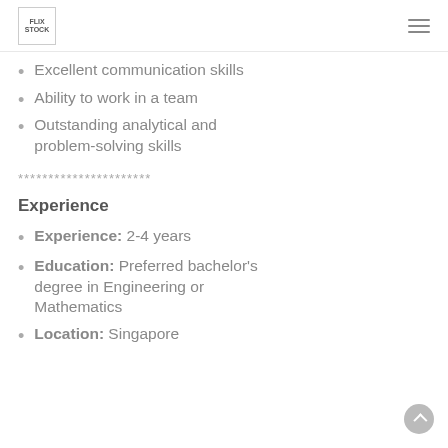FLIX STOCK
Excellent communication skills
Ability to work in a team
Outstanding analytical and problem-solving skills
**********************
Experience
Experience: 2-4 years
Education: Preferred bachelor's degree in Engineering or Mathematics
Location: Singapore